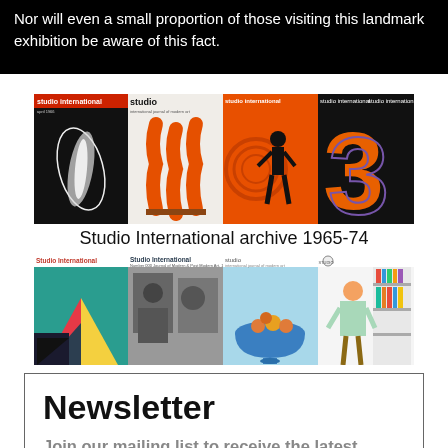Nor will even a small proportion of those visiting this landmark exhibition be aware of this fact.
[Figure (illustration): Two rows of Studio International magazine covers from the archive 1965-74. Top row: four covers including abstract white form on black, orange sculptural forms, Andy Warhol-style figure on orange, and large orange numeral 3 on black. Bottom row: four covers including geometric shapes on teal, black and white photo of people, blue bowl with fruits, and person browsing shelves.]
Studio International archive 1965-74
Newsletter
Join our mailing list to receive the latest reviews of exhibitions and